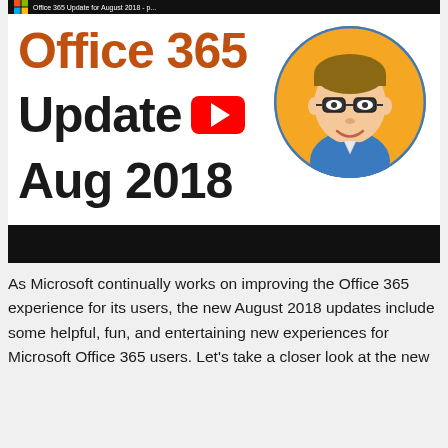[Figure (screenshot): YouTube video thumbnail for 'Office 365 Update for August 2018' showing large orange text 'Office 365', dark text 'Update' with a red YouTube play button, dark text 'Aug 2018', and a cartoon avatar of a man with glasses and blue shirt on an orange circular background. A black bar appears below the thumbnail.]
As Microsoft continually works on improving the Office 365 experience for its users, the new August 2018 updates include some helpful, fun, and entertaining new experiences for Microsoft Office 365 users. Let's take a closer look at the new